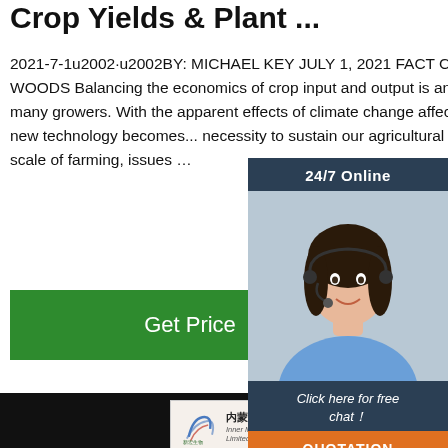Crop Yields & Plant ...
2021-7-1u2002·u2002BY: MICHAEL KEY JULY 1, 2021 FACT CHECKED BY: IAN WOODS Balancing the economics of crop input and output is an ongoing challenge for many growers. With the apparent effects of climate change affecting growth and crop yields, new technology becomes a necessity to sustain our agricultural production. B... smaller scale of farming, issues …
[Figure (other): Green 'Get Price' button]
[Figure (photo): Chat widget overlay with woman wearing headset, '24/7 Online' header, 'Click here for free chat!' text, and orange QUOTATION button]
[Figure (photo): Black background with a white certificate card from Inner Mongolia XinHong Biotech Company Limited (内蒙古新宏生物科技有限公司) showing product info: 品名: 牛胎肝提取物干粉, Name: Embryonic Bovine Liver Extract spray drier powder, 保质期: 36个月, Shelf life: 36 months. Orange TOP icon in bottom right corner.]